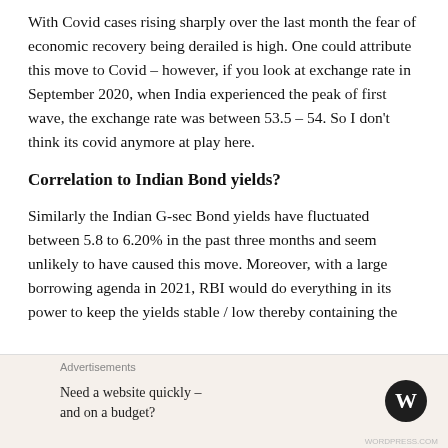With Covid cases rising sharply over the last month the fear of economic recovery being derailed is high. One could attribute this move to Covid – however, if you look at exchange rate in September 2020, when India experienced the peak of first wave, the exchange rate was between 53.5 – 54. So I don't think its covid anymore at play here.
Correlation to Indian Bond yields?
Similarly the Indian G-sec Bond yields have fluctuated between 5.8 to 6.20% in the past three months and seem unlikely to have caused this move. Moreover, with a large borrowing agenda in 2021, RBI would do everything in its power to keep the yields stable / low thereby containing the
Advertisements
Need a website quickly – and on a budget?